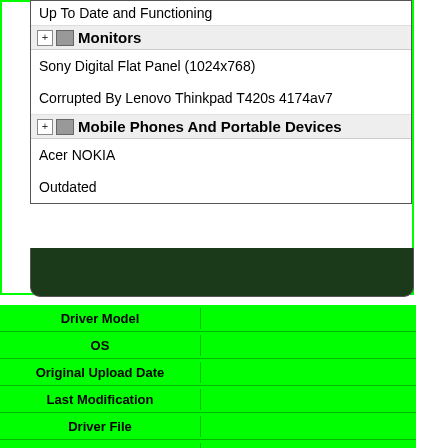[Figure (screenshot): Screenshot of a device tree/list UI showing Monitors section with Sony Digital Flat Panel (1024x768) listed and corrupted by Lenovo Thinkpad T420s 4174av7, then Mobile Phones And Portable Devices section with Acer NOKIA listed as Outdated. Below is a green table with rows: Driver Model, OS, Original Upload Date, Last Modification, Driver File, File Size.]
| Driver Model |  |
| --- | --- |
| OS |  |
| Original Upload Date |  |
| Last Modification |  |
| Driver File |  |
| File Size |  |